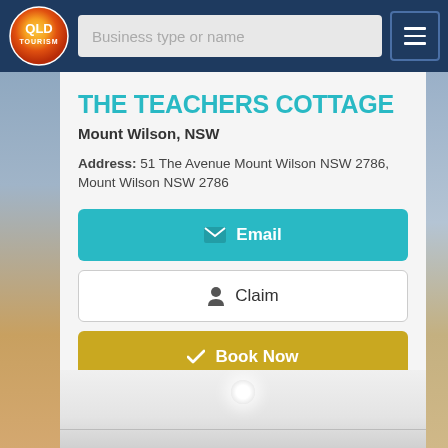[Figure (screenshot): QLD Tourism logo with orange/red gradient circle on dark blue navbar background]
Business type or name
THE TEACHERS COTTAGE
Mount Wilson, NSW
Address: 51 The Avenue Mount Wilson NSW 2786, Mount Wilson NSW 2786
Email
Claim
Book Now
View Details
[Figure (photo): Interior room photo showing white ceiling with ceiling light fixture]